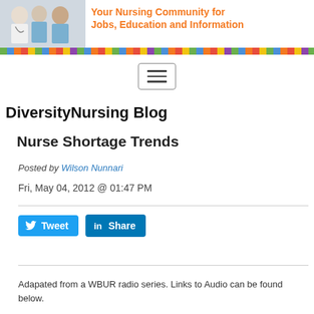[Figure (illustration): Website header banner showing three nurses/medical professionals on the left with text 'Your Nursing Community for Jobs, Education and Information' in orange on the right, followed by a colorful square pattern bar below.]
[Figure (other): Hamburger menu button icon with three horizontal lines inside a rounded rectangle border.]
DiversityNursing Blog
Nurse Shortage Trends
Posted by Wilson Nunnari
Fri, May 04, 2012 @ 01:47 PM
[Figure (other): Tweet button (blue) and Share button (LinkedIn blue) social media sharing buttons.]
Adapated from a WBUR radio series. Links to Audio can be found below.